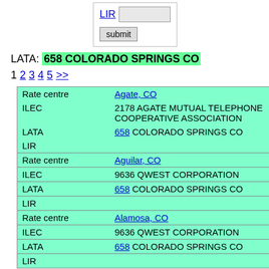[Figure (screenshot): Web form with LIR label, text input box, and submit button]
LATA: 658 COLORADO SPRINGS CO
1 2 3 4 5 >>
| Field | Value |
| --- | --- |
| Rate centre | Agate, CO |
| ILEC | 2178 AGATE MUTUAL TELEPHONE COOPERATIVE ASSOCIATION |
| LATA | 658 COLORADO SPRINGS CO |
| LIR |  |
| Rate centre | Aguilar, CO |
| ILEC | 9636 QWEST CORPORATION |
| LATA | 658 COLORADO SPRINGS CO |
| LIR |  |
| Rate centre | Alamosa, CO |
| ILEC | 9636 QWEST CORPORATION |
| LATA | 658 COLORADO SPRINGS CO |
| LIR |  |